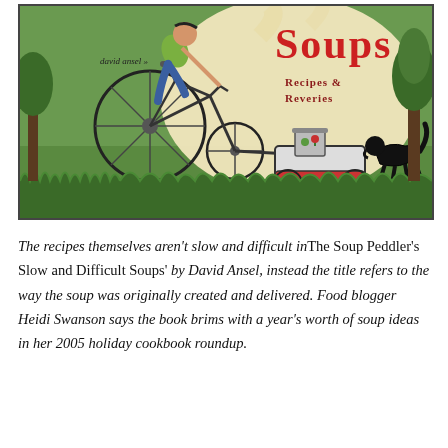[Figure (illustration): Book cover illustration for 'The Soup Peddler's Slow and Difficult Soups: Recipes & Reveries' by David Ansel. Green background with a person riding a tall bicycle pulling a cart with soup pot, a dog running alongside, cream soup bowl graphic with steam in the background.]
The recipes themselves aren't slow and difficult in The Soup Peddler's Slow and Difficult Soups' by David Ansel, instead the title refers to the way the soup was originally created and delivered. Food blogger Heidi Swanson says the book brims with a year's worth of soup ideas in her 2005 holiday cookbook roundup.